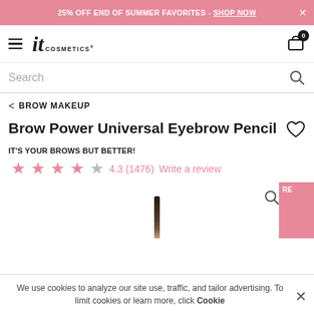25% OFF END OF SUMMER FAVORITES - SHOP NOW
[Figure (logo): IT Cosmetics logo with hamburger menu and cart icon showing 0 items]
Search
< BROW MAKEUP
Brow Power Universal Eyebrow Pencil
IT'S YOUR BROWS BUT BETTER!
4.3 (1476)  Write a review
[Figure (photo): Partial view of eyebrow pencil product with pink swatch on right side showing RE text]
We use cookies to analyze our site use, traffic, and tailor advertising. To limit cookies or learn more, click Cookie Settings.